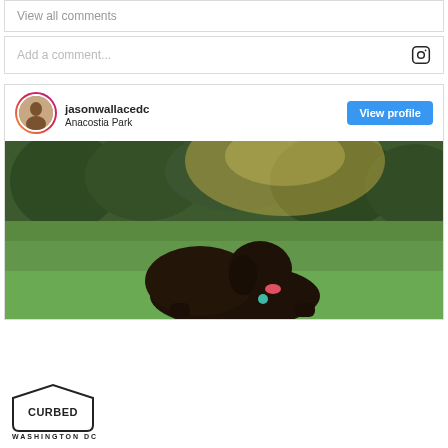View all comments
Add a comment...
jasonwallacedc
Anacostia Park
View profile
[Figure (photo): A large dark-colored dog lying on green grass in a park at golden hour, with trees in the background. The dog appears to be a large breed, possibly a Labrador mix, with its tongue out and wearing a teal tag.]
[Figure (logo): Curbed Washington DC logo — house-shaped outline with 'CURBED' inside and 'WASHINGTON DC' below]